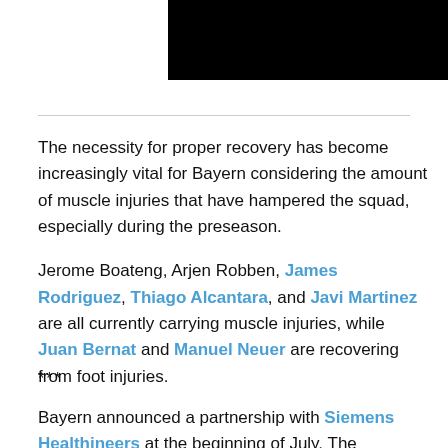[Figure (photo): Black rectangle image at the top center of the page]
The necessity for proper recovery has become increasingly vital for Bayern considering the amount of muscle injuries that have hampered the squad, especially during the preseason.
Jerome Boateng, Arjen Robben, James Rodriguez, Thiago Alcantara, and Javi Martinez are all currently carrying muscle injuries, while Juan Bernat and Manuel Neuer are recovering from foot injuries.
***
Bayern announced a partnership with Siemens Healthineers at the beginning of July. The partnership